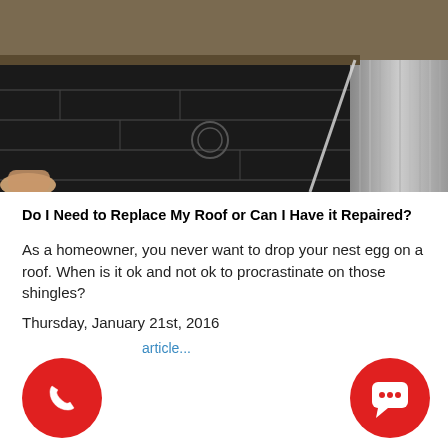[Figure (photo): Close-up photo of a roof section showing shingles and flashing near what appears to be a skylight or window frame, with a hand visible at the lower left.]
Do I Need to Replace My Roof or Can I Have it Repaired?
As a homeowner, you never want to drop your nest egg on a roof. When is it ok and not ok to procrastinate on those shingles?
Thursday, January 21st, 2016
article...